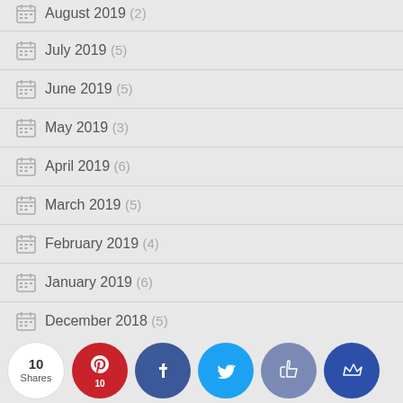August 2019 (2)
July 2019 (5)
June 2019 (5)
May 2019 (3)
April 2019 (6)
March 2019 (5)
February 2019 (4)
January 2019 (6)
December 2018 (5)
November 2018 (5)